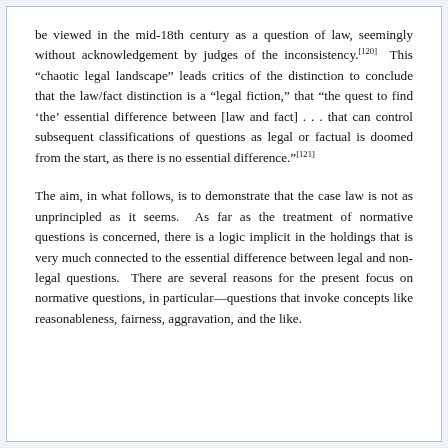be viewed in the mid-18th century as a question of law, seemingly without acknowledgement by judges of the inconsistency.[120]  This “chaotic legal landscape” leads critics of the distinction to conclude that the law/fact distinction is a “legal fiction,” that “the quest to find ‘the’ essential difference between [law and fact] . . . that can control subsequent classifications of questions as legal or factual is doomed from the start, as there is no essential difference.”[121]
The aim, in what follows, is to demonstrate that the case law is not as unprincipled as it seems.  As far as the treatment of normative questions is concerned, there is a logic implicit in the holdings that is very much connected to the essential difference between legal and non-legal questions.  There are several reasons for the present focus on normative questions, in particular—questions that invoke concepts like reasonableness, fairness, aggravation, and the like.